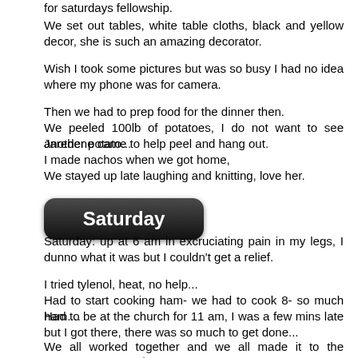for saturdays fellowship.
We set out tables, white table cloths, black and yellow decor, she is such an amazing decorator.
Wish I took some pictures but was so busy I had no idea where my phone was for camera.
Then we had to prep food for the dinner then.
We peeled 100lb of potatoes, I do not want to see another potato...
Jaredene came to help peel and hang out.
I made nachos when we got home,
We stayed up late laughing and knitting, love her.
Saturday
Saturday: up at 6 am in excruciating pain in my legs, I dunno what it was but I couldn't get a relief.
I tried tylenol, heat, no help...
Had to start cooking ham- we had to cook 8- so much ham....
Had to be at the church for 11 am, I was a few mins late but I got there, there was so much to get done...
We all worked together and we all made it to the service. We host a yearly fellowship and people from all church's around come to it, we